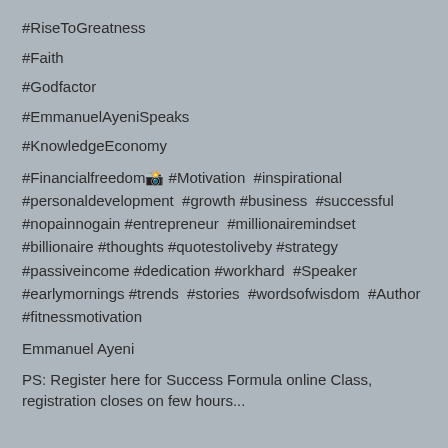#RiseToGreatness
#Faith
#Godfactor
#EmmanuelAyeniSpeaks
#KnowledgeEconomy
#Financialfreedom📸 #Motivation  #inspirational #personaldevelopment  #growth #business  #successful #nopainnogain #entrepreneur  #millionairemindset #billionaire #thoughts #quotestoliveby #strategy #passiveincome #dedication #workhard  #Speaker #earlymornings #trends  #stories  #wordsofwisdom  #Author #fitnessmotivation
Emmanuel Ayeni
PS: Register here for Success Formula online Class, registration closes on few hours...